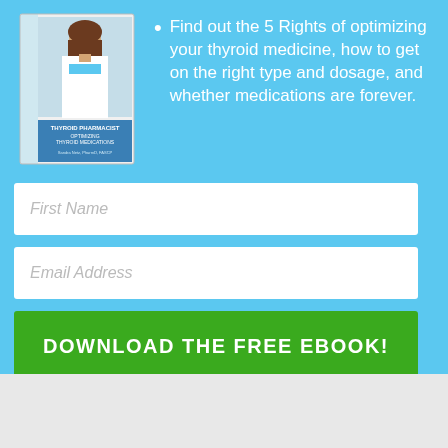[Figure (illustration): Book cover showing a woman in a white coat (pharmacist) and the title 'Thyroid Pharmacist: Optimizing Thyroid Medications']
Find out the 5 Rights of optimizing your thyroid medicine, how to get on the right type and dosage, and whether medications are forever.
First Name
Email Address
DOWNLOAD THE FREE EBOOK!
NO THANKS